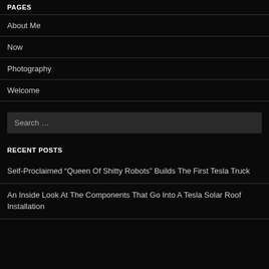PAGES
About Me
Now
Photography
Welcome
Search …
RECENT POSTS
Self-Proclaimed “Queen Of Shitty Robots” Builds The First Tesla Truck
An Inside Look At The Components That Go Into A Tesla Solar Roof Installation